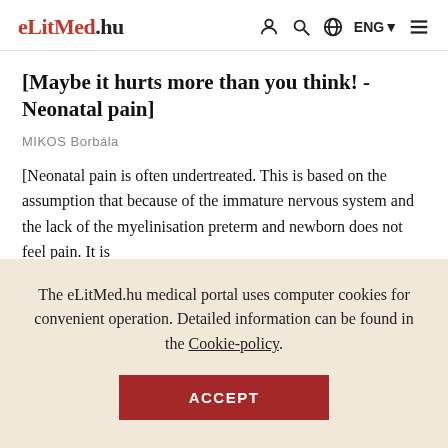eLitMed.hu  ENG
[Maybe it hurts more than you think! - Neonatal pain]
MIKOS Borbála
[Neonatal pain is often undertreated. This is based on the assumption that because of the immature nervous system and the lack of the myelinisation preterm and newborn does not feel pain. It is
The eLitMed.hu medical portal uses computer cookies for convenient operation. Detailed information can be found in the Cookie-policy.
ACCEPT